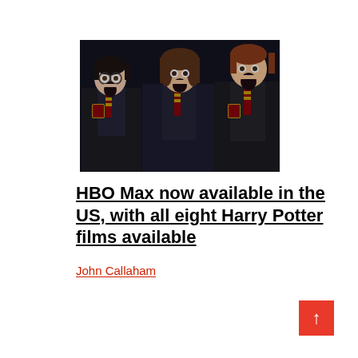[Figure (photo): Three young actors in Hogwarts school uniforms with mouths open in shock or awe, appearing to be from the Harry Potter films. Black and dark background.]
HBO Max now available in the US, with all eight Harry Potter films available
John Callaham